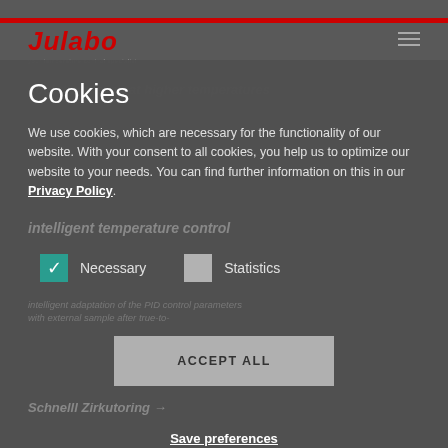[Figure (screenshot): Julabo website header with red logo text and hamburger menu icon on dark gray background]
cool down even at higher temperatures
Cookies
We use cookies, which are necessary for the functionality of our website. With your consent to all cookies, you help us to optimize our website to your needs. You can find further information on this in our Privacy Policy.
intelligent temperature control
Necessary
Statistics
ACCEPT ALL
Save preferences